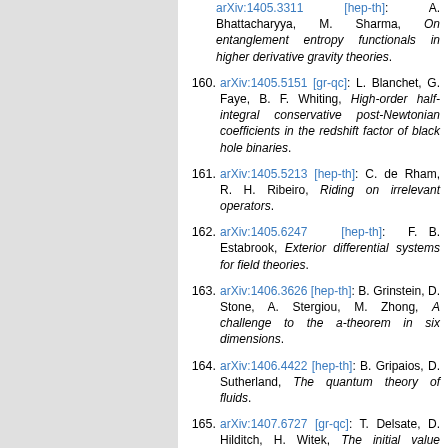159. arXiv:1405.3311 [hep-th]: A. Bhattacharyya, M. Sharma, On entanglement entropy functionals in higher derivative gravity theories.
160. arXiv:1405.5151 [gr-qc]: L. Blanchet, G. Faye, B. F. Whiting, High-order half-integral conservative post-Newtonian coefficients in the redshift factor of black hole binaries.
161. arXiv:1405.5213 [hep-th]: C. de Rham, R. H. Ribeiro, Riding on irrelevant operators.
162. arXiv:1405.6247 [hep-th]: F. B. Estabrook, Exterior differential systems for field theories.
163. arXiv:1406.3626 [hep-th]: B. Grinstein, D. Stone, A. Stergiou, M. Zhong, A challenge to the a-theorem in six dimensions.
164. arXiv:1406.4422 [hep-th]: B. Gripaios, D. Sutherland, The quantum theory of fluids.
165. arXiv:1407.6727 [gr-qc]: T. Delsate, D. Hilditch, H. Witek, The initial value formulation of dynamical Chern-Simons gravity.
166. arXiv:1407.6992 [gr-qc]: J. Vines,